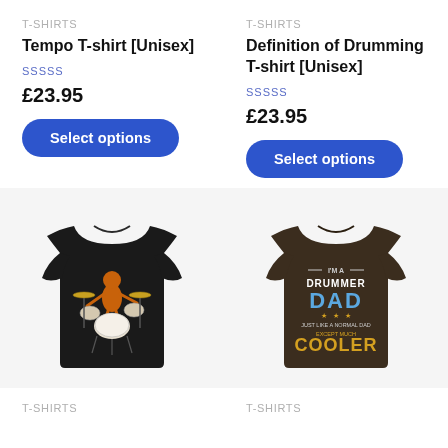T-SHIRTS
Tempo T-shirt [Unisex]
SSSSS
£23.95
Select options
T-SHIRTS
Definition of Drumming T-shirt [Unisex]
SSSSS
£23.95
Select options
[Figure (photo): Black t-shirt with orange cartoon character playing a drum kit]
[Figure (photo): Dark brown t-shirt with text: I'M A DRUMMER DAD JUST LIKE A NORMAL DAD EXCEPT MUCH COOLER]
T-SHIRTS
T-SHIRTS